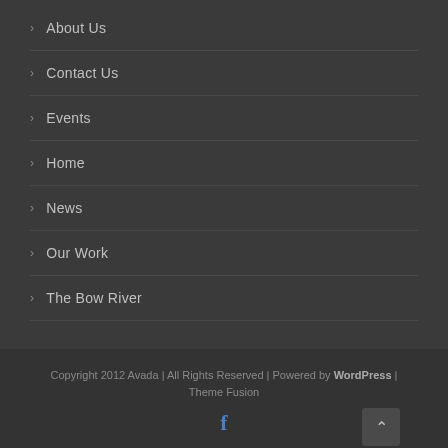> About Us
> Contact Us
> Events
> Home
> News
> Our Work
> The Bow River
Copyright 2012 Avada | All Rights Reserved | Powered by WordPress | Theme Fusion